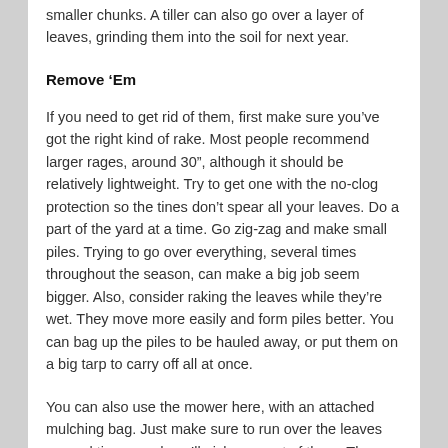smaller chunks. A tiller can also go over a layer of leaves, grinding them into the soil for next year.
Remove ‘Em
If you need to get rid of them, first make sure you’ve got the right kind of rake. Most people recommend larger rages, around 30”, although it should be relatively lightweight. Try to get one with the no-clog protection so the tines don’t spear all your leaves. Do a part of the yard at a time. Go zig-zag and make small piles. Trying to go over everything, several times throughout the season, can make a big job seem bigger. Also, consider raking the leaves while they’re wet. They move more easily and form piles better. You can bag up the piles to be hauled away, or put them on a big tarp to carry off all at once.
You can also use the mower here, with an attached mulching bag. Just make sure to run over the leaves several times, and you’ll pick up most of them. There are also leaf vacuums, which work best on dry leaves, sucking them up into a bag.